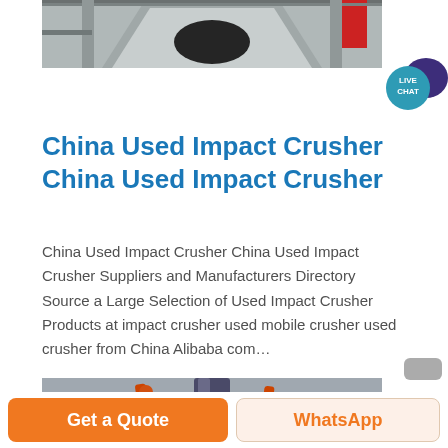[Figure (photo): Top partial view of industrial crusher machinery with dark interior and red component visible]
[Figure (illustration): Live chat button — teal circle with 'LIVE CHAT' text and dark purple speech bubble icon]
China Used Impact Crusher China Used Impact Crusher
China Used Impact Crusher China Used Impact Crusher Suppliers and Manufacturers Directory Source a Large Selection of Used Impact Crusher Products at impact crusher used mobile crusher used crusher from China Alibaba com…
[Figure (photo): Bottom partial view of industrial crusher machinery showing blue ring component, pipe, orange hydraulic tubes, and gray disk base]
Get a Quote
WhatsApp